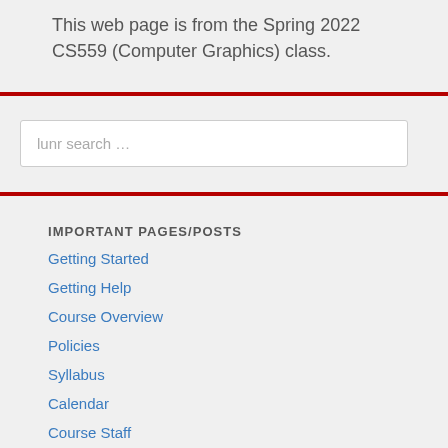This web page is from the Spring 2022 CS559 (Computer Graphics) class.
IMPORTANT PAGES/POSTS
Getting Started
Getting Help
Course Overview
Policies
Syllabus
Calendar
Course Staff
Galleries Index